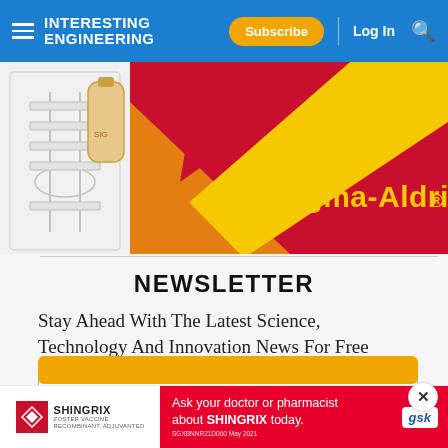INTERESTING ENGINEERING | Subscribe | Log In
[Figure (photo): Sigma-Aldrich advertisement banner with red and yellow geometric design and laboratory equipment on left side]
NEWSLETTER
Stay Ahead With The Latest Science, Technology And Innovation News For Free
Email address
[Figure (screenshot): Orange subscribe button strip (partially visible at bottom of newsletter form)]
[Figure (photo): Shingrix advertisement: Ask your doctor or pharmacist about SHINGRIX today. SGXBNNR21D060 May 2021. GSK logo.]